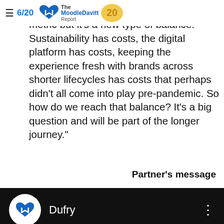6/20 | The Moodle Davitt Report
Longer term, financial balance is the metric but it's a new type of balance. Sustainability has costs, the digital platform has costs, keeping the experience fresh with brands across shorter lifecycles has costs that perhaps didn't all come into play pre-pandemic. So how do we reach that balance? It's a big question and will be part of the longer journey."
Partner's message
[Figure (screenshot): Dark UI panel showing Dufry brand with logo icon (blue M/book icon on white circle), company name 'Dufry', a three-dot menu, and teal navigation arrows (left and right).]